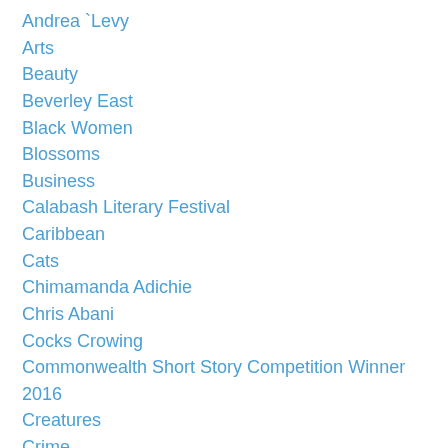Andrea `Levy
Arts
Beauty
Beverley East
Black Women
Blossoms
Business
Calabash Literary Festival
Caribbean
Cats
Chimamanda Adichie
Chris Abani
Cocks Crowing
Commonwealth Short Story Competition Winner 2016
Creatures
Crime
Crowning Glory
Cuts
Darker Times Publishing
Debbie Flint
Debut Novel